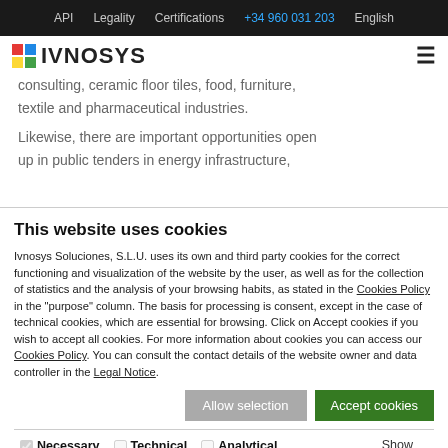API  Legality  Certifications  +34 960 031 203  English
[Figure (logo): IVNOSYS logo with colorful pixel icon and text]
consulting, ceramic floor tiles, food, furniture, textile and pharmaceutical industries.
Likewise, there are important opportunities open up in public tenders in energy infrastructure,
This website uses cookies
Ivnosys Soluciones, S.L.U. uses its own and third party cookies for the correct functioning and visualization of the website by the user, as well as for the collection of statistics and the analysis of your browsing habits, as stated in the Cookies Policy in the "purpose" column. The basis for processing is consent, except in the case of technical cookies, which are essential for browsing. Click on Accept cookies if you wish to accept all cookies. For more information about cookies you can access our Cookies Policy. You can consult the contact details of the website owner and data controller in the Legal Notice.